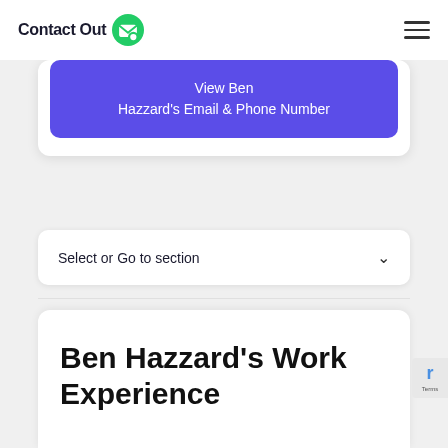Contact Out
View Ben Hazzard's Email & Phone Number
Select or Go to section
Ben Hazzard's Work Experience